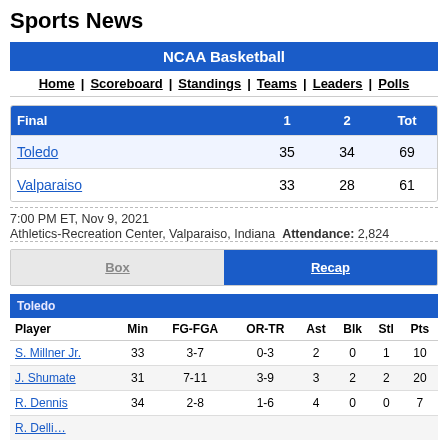Sports News
NCAA Basketball
Home | Scoreboard | Standings | Teams | Leaders | Polls
| Final | 1 | 2 | Tot |
| --- | --- | --- | --- |
| Toledo | 35 | 34 | 69 |
| Valparaiso | 33 | 28 | 61 |
7:00 PM ET, Nov 9, 2021
Athletics-Recreation Center, Valparaiso, Indiana  Attendance: 2,824
Box | Recap
| Player | Min | FG-FGA | OR-TR | Ast | Blk | Stl | Pts |
| --- | --- | --- | --- | --- | --- | --- | --- |
| S. Millner Jr. | 33 | 3-7 | 0-3 | 2 | 0 | 1 | 10 |
| J. Shumate | 31 | 7-11 | 3-9 | 3 | 2 | 2 | 20 |
| R. Dennis | 34 | 2-8 | 1-6 | 4 | 0 | 0 | 7 |